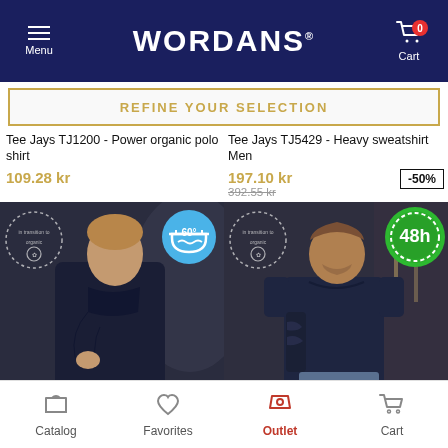WORDANS - Menu | Cart (0)
REFINE YOUR SELECTION
Tee Jays TJ1200 - Power organic polo shirt
109.28 kr
Tee Jays TJ5429 - Heavy sweatshirt Men
197.10 kr
392.55 kr
-50%
[Figure (photo): Man wearing a dark navy long sleeve polo shirt, with a 60° wash badge overlay and transition to organic circular badge]
[Figure (photo): Man wearing a dark navy t-shirt, with a 48h delivery badge overlay and transition to organic circular badge]
Catalog | Favorites | Outlet | Cart